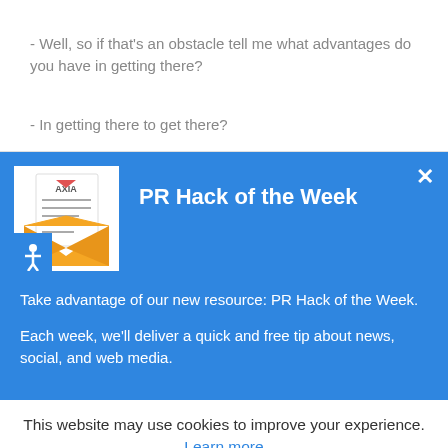- Well, so if that's an obstacle tell me what advantages do you have in getting there?
- In getting there to get there?
[Figure (screenshot): PR Hack of the Week promotional modal popup with blue background, envelope/letter icon with AXIA branding, title 'PR Hack of the Week', close button (×), body text about taking advantage of new resource PR Hack of the Week, and description of weekly tips about news, social, and web media.]
This website may use cookies to improve your experience. Learn more
Got it!